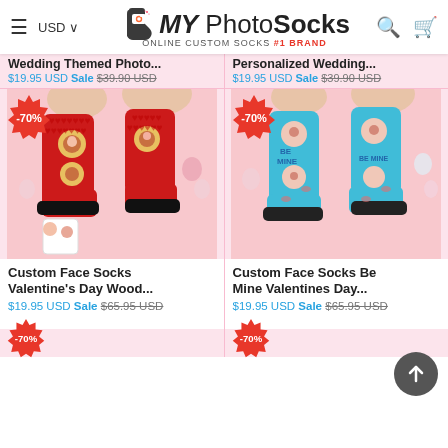MY Photo Socks — ONLINE CUSTOM SOCKS #1 BRAND
Wedding Themed Photo... $19.95 USD Sale $39.90 USD
Personalized Wedding... $19.95 USD Sale $39.90 USD
[Figure (photo): Red custom face socks with heart/avocado design showing couple faces, -70% badge]
Custom Face Socks Valentine's Day Wood... $19.95 USD Sale $65.95 USD
[Figure (photo): Blue custom face socks with Be Mine text and face prints, -70% badge]
Custom Face Socks Be Mine Valentines Day... $19.95 USD Sale $65.95 USD